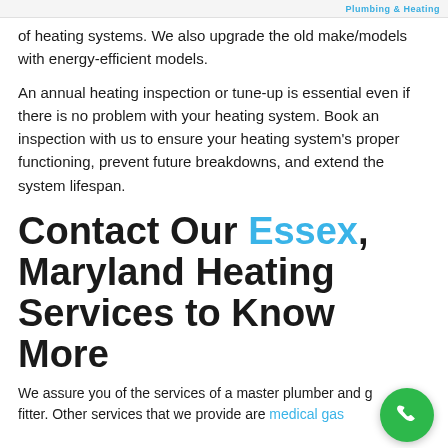Plumbing & Heating
of heating systems. We also upgrade the old make/models with energy-efficient models.
An annual heating inspection or tune-up is essential even if there is no problem with your heating system. Book an inspection with us to ensure your heating system's proper functioning, prevent future breakdowns, and extend the system lifespan.
Contact Our Essex, Maryland Heating Services to Know More
We assure you of the services of a master plumber and gas fitter. Other services that we provide are medical gas...